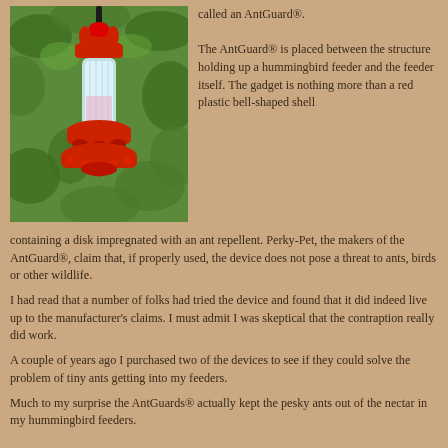[Figure (photo): A red hummingbird feeder hanging against a green leafy background, showing a glass/plastic bottle with red disc-shaped base and red top hook mechanism]
called an AntGuard®.

The AntGuard® is placed between the structure holding up a hummingbird feeder and the feeder itself. The gadget is nothing more than a red plastic bell-shaped shell containing a disk impregnated with an ant repellent. Perky-Pet, the makers of the AntGuard®, claim that, if properly used, the device does not pose a threat to ants, birds or other wildlife.
I had read that a number of folks had tried the device and found that it did indeed live up to the manufacturer's claims. I must admit I was skeptical that the contraption really did work.
A couple of years ago I purchased two of the devices to see if they could solve the problem of tiny ants getting into my feeders.
Much to my surprise the AntGuards® actually kept the pesky ants out of the nectar in my hummingbird feeders.